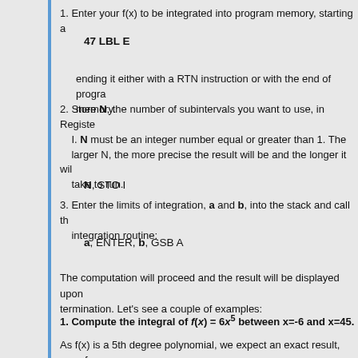1. Enter your f(x) to be integrated into program memory, starting a
47 LBL E
ending it either with a RTN instruction or with the end of program memory.
2. Store N, the number of subintervals you want to use, in Register I. N must be an integer number equal or greater than 1. The larger N, the more precise the result will be and the longer it will take to run.
N, STO I
3. Enter the limits of integration, a and b, into the stack and call the integration routine:
a, ENTER, b, GSB A
The computation will proceed and the result will be displayed upon termination. Let's see a couple of examples:
1. Compute the integral of f(x) = 6x^5 between x=-6 and x=45.
As f(x) is a 5th degree polynomial, we expect an exact result, save for